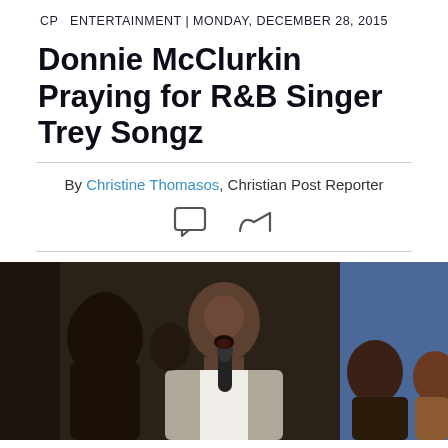CP  ENTERTAINMENT | MONDAY, DECEMBER 28, 2015
Donnie McClurkin Praying for R&B Singer Trey Songz
By Christine Thomasos, Christian Post Reporter
[Figure (photo): Donnie McClurkin singing on stage holding a microphone, surrounded by other performers, in a performance setting.]